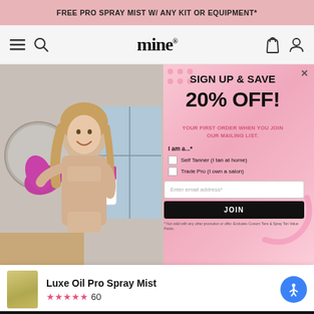FREE PRO SPRAY MIST W/ ANY KIT OR EQUIPMENT*
[Figure (screenshot): Navigation bar with hamburger menu, search icon, 'mine' logo, bag icon, and account icon on light gray background]
[Figure (photo): Woman in beige swimwear holding a spray tan product and a pink/purple tanning mitt, smiling in a bathroom setting]
SIGN UP & SAVE 20% OFF!
YOUR FIRST ORDER WHEN YOU JOIN OUR MAILING LIST.
I am a...*
Self Tanner (I tan at home)
Trade Pro (I own a salon)
Enter email address*
JOIN
* Not valid with any other promotion or offer. Excludes Custom Tans & Spray Tan Value Packs.
100% vegan & ...
100% natural DHA
Paraben, palm oil, ...
Luxe Oil Pro Spray Mist
★★★★★ 60